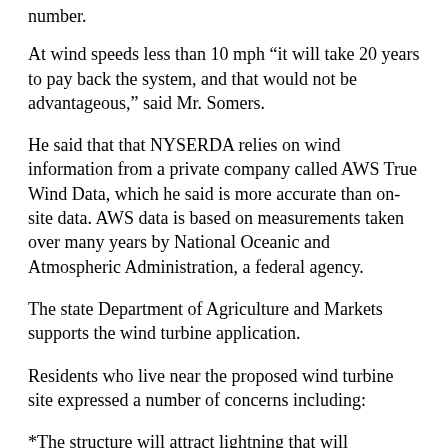number.
At wind speeds less than 10 mph “it will take 20 years to pay back the system, and that would not be advantageous,” said Mr. Somers.
He said that that NYSERDA relies on wind information from a private company called AWS True Wind Data, which he said is more accurate than on-site data. AWS data is based on measurements taken over many years by National Oceanic and Atmospheric Administration, a federal agency.
The state Department of Agriculture and Markets supports the wind turbine application.
Residents who live near the proposed wind turbine site expressed a number of concerns including:
*The structure will attract lightning that will ultimately damage their property
*Sun reflecting off the spinning blades will create a